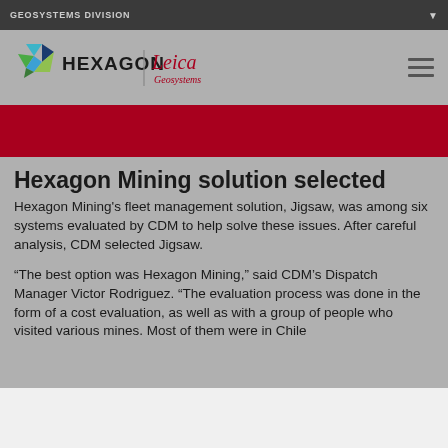GEOSYSTEMS DIVISION
[Figure (logo): Hexagon | Leica Geosystems combined logo with hexagon icon]
Hexagon Mining solution selected
Hexagon Mining's fleet management solution, Jigsaw, was among six systems evaluated by CDM to help solve these issues. After careful analysis, CDM selected Jigsaw.
“The best option was Hexagon Mining,” said CDM’s Dispatch Manager Victor Rodriguez. “The evaluation process was done in the form of a cost evaluation, as well as with a group of people who visited various mines. Most of them were in Chile